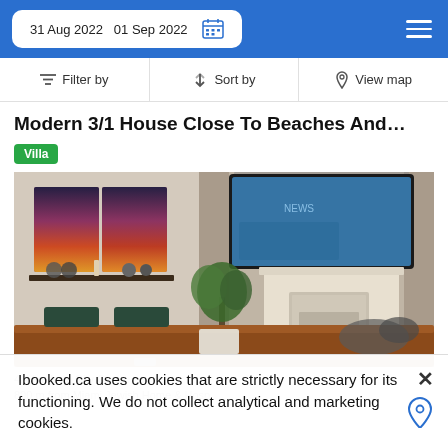31 Aug 2022  01 Sep 2022
Filter by  |  Sort by  |  View map
Modern 3/1 House Close To Beaches And…
Villa
[Figure (photo): Interior photo of a living/dining room with a wooden dining table, chairs, a fireplace with brick surround, a large flat-screen TV mounted above, decorative wall art with a sunset scene, plants, and curtains.]
4.4 km from City Centre
800 m from Miami Jewish Home & Hosp
Ibooked.ca uses cookies that are strictly necessary for its functioning. We do not collect analytical and marketing cookies.